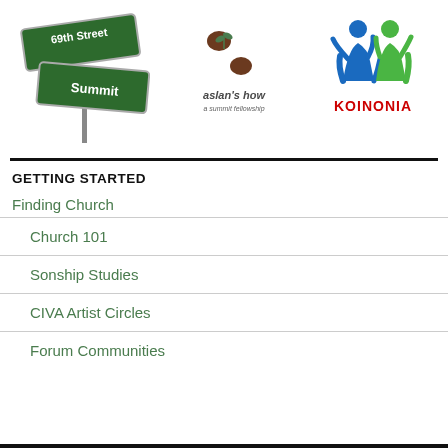[Figure (logo): 69th Street Summit street sign logo — two green street signs crossed, one reading '69th Street' and one reading 'Summit']
[Figure (logo): Aslan's How a summit fellowship logo — brown paw prints with text 'aslan's how a summit fellowship']
[Figure (logo): Koinonia logo — blue and green stylized human figures with red text 'KOINONIA']
GETTING STARTED
Finding Church
Church 101
Sonship Studies
CIVA Artist Circles
Forum Communities